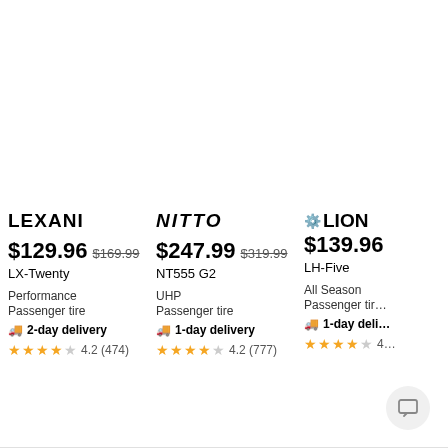[Figure (other): Product listing card for Lexani LX-Twenty tire showing brand logo, price $129.96 (was $169.99), model name, Performance Passenger tire category, 2-day delivery, and 4.2 star rating (474 reviews)]
[Figure (other): Product listing card for Nitto NT555 G2 tire showing brand logo in italic style, price $247.99 (was $319.99), UHP Passenger tire category, 1-day delivery, and 4.2 star rating (777 reviews)]
[Figure (other): Product listing card for Lion LH-Five tire showing brand logo with icon, price $139.96, All Season Passenger tire category, 1-day delivery, and partial 4.2 star rating]